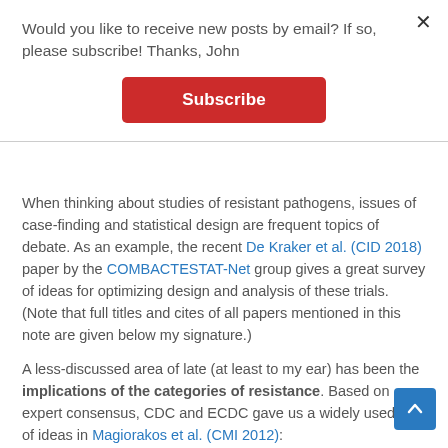Would you like to receive new posts by email? If so, please subscribe! Thanks, John
Subscribe
When thinking about studies of resistant pathogens, issues of case-finding and statistical design are frequent topics of debate. As an example, the recent De Kraker et al. (CID 2018) paper by the COMBACTESTAT-Net group gives a great survey of ideas for optimizing design and analysis of these trials. (Note that full titles and cites of all papers mentioned in this note are given below my signature.)
A less-discussed area of late (at least to my ear) has been the implications of the categories of resistance. Based on expert consensus, CDC and ECDC gave us a widely used set of ideas in Magiorakos et al. (CMI 2012):
MDR (Multi-Drug Resistance) was defined as acquired non-susceptibility to at least one agent in three or